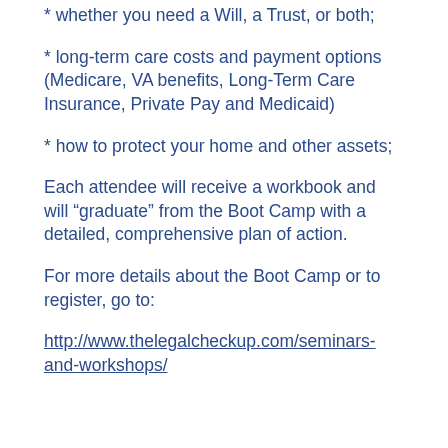* whether you need a Will, a Trust, or both;
* long-term care costs and payment options (Medicare, VA benefits, Long-Term Care Insurance, Private Pay and Medicaid)
* how to protect your home and other assets;
Each attendee will receive a workbook and will "graduate" from the Boot Camp with a detailed, comprehensive plan of action.
For more details about the Boot Camp or to register, go to:
http://www.thelegalcheckup.com/seminars-and-workshops/